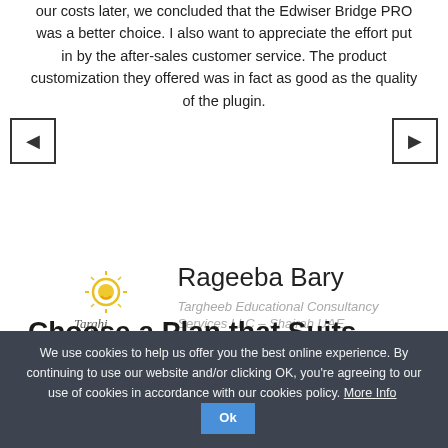our costs later, we concluded that the Edwiser Bridge PRO was a better choice. I also want to appreciate the effort put in by the after-sales customer service. The product customization they offered was in fact as good as the quality of the plugin.
[Figure (logo): Targheeb Educational Consultancy Services LLC logo — stylized face with Arabic calligraphy text]
Rageeba Bary
Targheeb Educational Consultancy Services LLC – Shajrah UAE
[Figure (other): Carousel navigation dots — 5 dots, 4th active]
Choose a Plan that Suits your Need
We use cookies to help us offer you the best online experience. By continuing to use our website and/or clicking OK, you're agreeing to our use of cookies in accordance with our cookies policy. More Info Ok